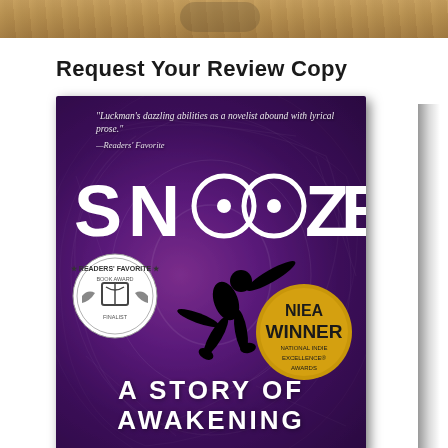[Figure (photo): Partial top edge of a decorative or textured image, brownish/sandy tones]
Request Your Review Copy
[Figure (photo): Book cover for 'SNOOZE: A Story of Awakening' by Luckman. Purple swirling background with silhouette of falling figure, Readers' Favorite Book Award Finalist badge, and NIEA Winner National Indie Excellence Awards badge. Quote: 'Luckman's dazzling abilities as a novelist abound with lyrical prose.' —Readers' Favorite]